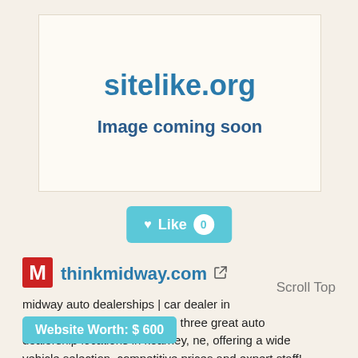[Figure (screenshot): Placeholder image box with sitelike.org title and 'Image coming soon' text on cream background]
[Figure (other): Like button with heart icon showing count 0 on teal background]
[Figure (logo): Red M logo for thinkmidway.com]
thinkmidway.com
Scroll Top
midway auto dealerships | car dealer in midway auto dealerships has three great auto dealership locations in kearney, ne, offering a wide vehicle selection, competitive prices and expert staff!
Website Worth: $ 600